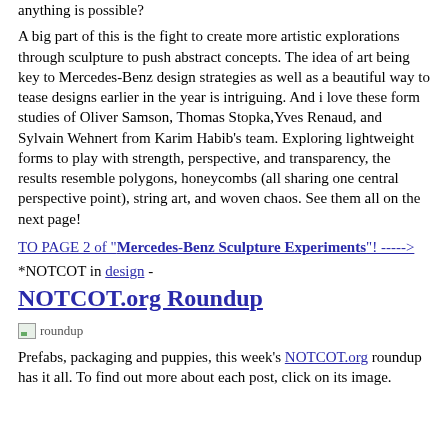anything is possible?
A big part of this is the fight to create more artistic explorations through sculpture to push abstract concepts. The idea of art being key to Mercedes-Benz design strategies as well as a beautiful way to tease designs earlier in the year is intriguing. And i love these form studies of Oliver Samson, Thomas Stopka, Yves Renaud, and Sylvain Wehnert from Karim Habib's team. Exploring lightweight forms to play with strength, perspective, and transparency, the results resemble polygons, honeycombs (all sharing one central perspective point), string art, and woven chaos. See them all on the next page!
TO PAGE 2 of "Mercedes-Benz Sculpture Experiments"! ----->
*NOTCOT in design -
NOTCOT.org Roundup
[Figure (photo): roundup image placeholder]
Prefabs, packaging and puppies, this week's NOTCOT.org roundup has it all. To find out more about each post, click on its image.